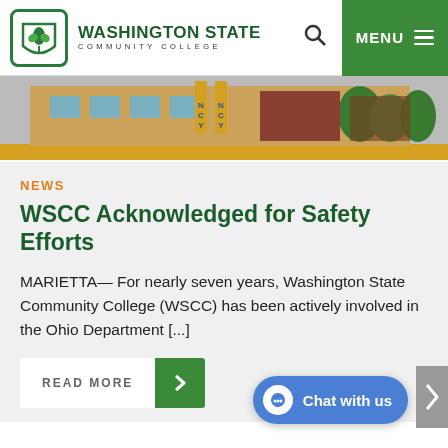WASHINGTON STATE COMMUNITY COLLEGE
[Figure (photo): Exterior photo of Washington State Community College building with yellow accent stripe]
NEWS
WSCC Acknowledged for Safety Efforts
MARIETTA— For nearly seven years, Washington State Community College (WSCC) has been actively involved in the Ohio Department [...]
READ MORE >
Chat with us